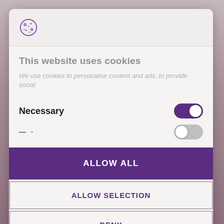[Figure (screenshot): Cookie consent modal dialog overlay on a website. Contains cookie icon, title, description, toggle switches for Necessary and another category, and three buttons: ALLOW ALL, ALLOW SELECTION, DENY.]
This website uses cookies
We use cookies to personalise content and ads, to provide social
Necessary
ALLOW ALL
ALLOW SELECTION
DENY